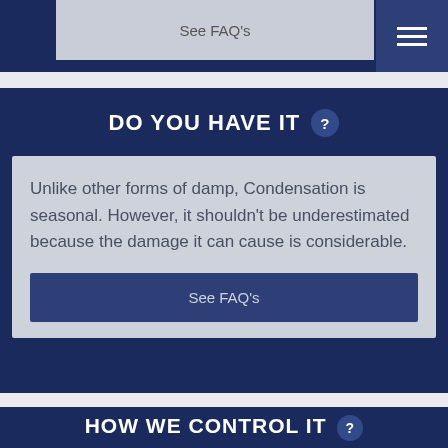See FAQ's
DO YOU HAVE IT ?
Unlike other forms of damp, Condensation is seasonal. However, it shouldn't be underestimated because the damage it can cause is considerable.
See FAQ's
HOW WE CONTROL IT ?